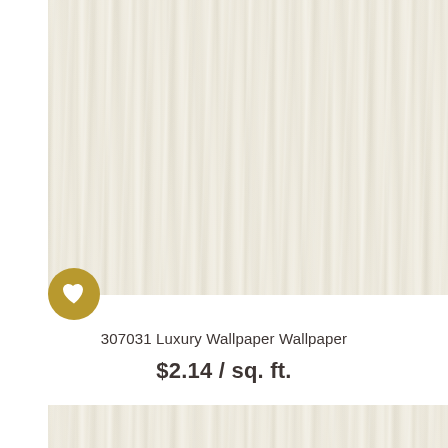[Figure (photo): Cream/off-white luxury wallpaper texture with subtle wood-grain moire pattern, top product image]
[Figure (illustration): Gold circular favorite/heart button overlaid at bottom-left corner of top product image]
307031 Luxury Wallpaper Wallpaper
$2.14 / sq. ft.
[Figure (photo): Cream/off-white luxury wallpaper texture with subtle wood-grain moire pattern, bottom product image]